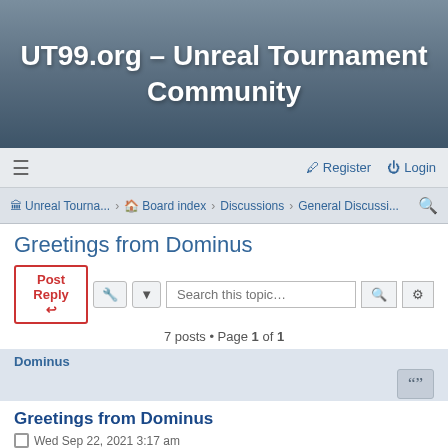UT99.org - Unreal Tournament Community
≡   Register   Login
Unreal Tourna... › Board index › Discussions › General Discussi...
Greetings from Dominus
7 posts • Page 1 of 1
Dominus
Greetings from Dominus
Wed Sep 22, 2021 3:17 am
Hello all. Just curious if anyone on here used to play with me back in the day. I was a members of the Mars clan. I mainly did LMS. I miss UT99 greatly. One of my favorite games of all time. I learned all my best 1sr person shooter tactics and moves playing UT99. I was best known for my use of sound mechanics. I had a great sound system and could hear...